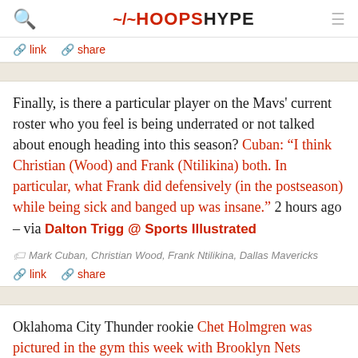HOOPSHYPE
link   share
Finally, is there a particular player on the Mavs' current roster who you feel is being underrated or not talked about enough heading into this season? Cuban: “I think Christian (Wood) and Frank (Ntilikina) both. In particular, what Frank did defensively (in the postseason) while being sick and banged up was insane.” 2 hours ago – via Dalton Trigg @ Sports Illustrated
Mark Cuban, Christian Wood, Frank Ntilikina, Dallas Mavericks
link   share
Oklahoma City Thunder rookie Chet Holmgren was pictured in the gym this week with Brooklyn Nets